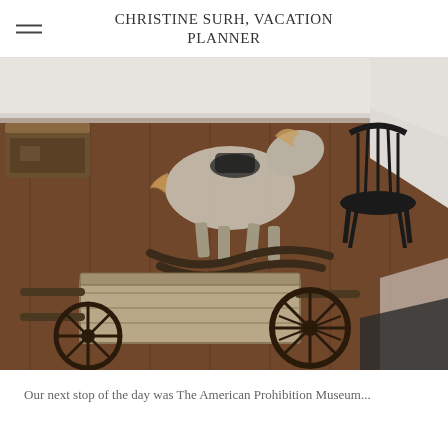CHRISTINE SURH, VACATION PLANNER
[Figure (photo): Interior room with antique wooden toys on a hardwood floor: a vintage rocking horse with worn fabric covering in the background, and a wooden wagon/cart with spoked wheels in the foreground. A dark wooden Windsor chair is visible in the upper right. The room has white walls and wide-plank dark wood flooring.]
Our next stop of the day was The American Prohibition Museum...